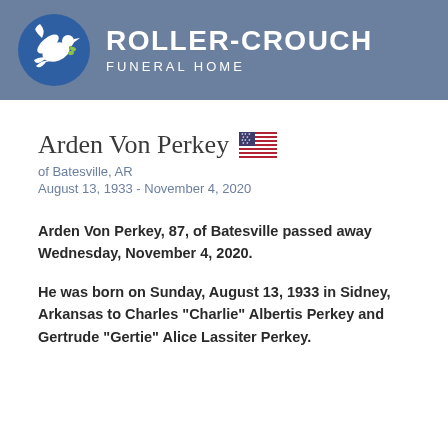ROLLER-CROUCH FUNERAL HOME
Arden Von Perkey
of Batesville, AR
August 13, 1933 - November 4, 2020
Arden Von Perkey, 87, of Batesville passed away Wednesday, November 4, 2020.
He was born on Sunday, August 13, 1933 in Sidney, Arkansas to Charles "Charlie" Albertis Perkey and Gertrude "Gertie" Alice Lassiter Perkey.